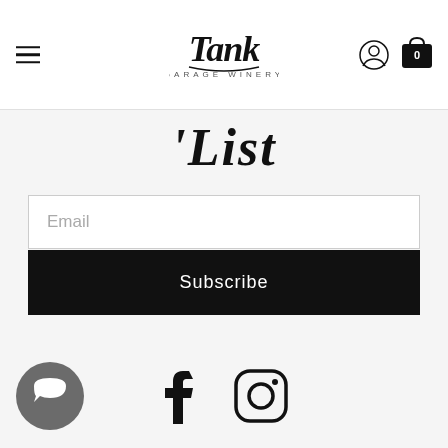Tank — navigation header with hamburger menu, logo, user icon, and cart (0)
'List
Email
Subscribe
[Figure (logo): Facebook icon]
[Figure (logo): Instagram icon]
[Figure (illustration): Chat bubble / support button]